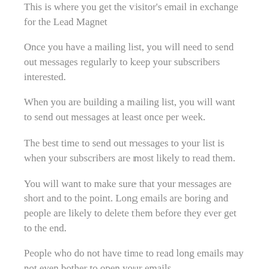This is where you get the visitor's email in exchange for the Lead Magnet
Once you have a mailing list, you will need to send out messages regularly to keep your subscribers interested.
When you are building a mailing list, you will want to send out messages at least once per week.
The best time to send out messages to your list is when your subscribers are most likely to read them.
You will want to make sure that your messages are short and to the point. Long emails are boring and people are likely to delete them before they ever get to the end.
People who do not have time to read long emails may not even bother to open your emails.
It is important that you include links in your emails